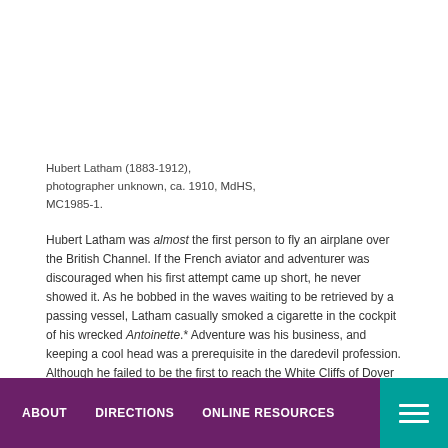Hubert Latham (1883-1912), photographer unknown, ca. 1910, MdHS, MC1985-1.
Hubert Latham was almost the first person to fly an airplane over the British Channel. If the French aviator and adventurer was discouraged when his first attempt came up short, he never showed it. As he bobbed in the waves waiting to be retrieved by a passing vessel, Latham casually smoked a cigarette in the cockpit of his wrecked Antoinette.* Adventure was his business, and keeping a cool head was a prerequisite in the daredevil profession. Although he failed to be the first to reach the White Cliffs of Dover his flight proved to be historic in another way. He had completed the world's first landing of an aircraft in the sea.
Fate worked against him once again in July, 1909, when gusty conditions
ABOUT   DIRECTIONS   ONLINE RESOURCES